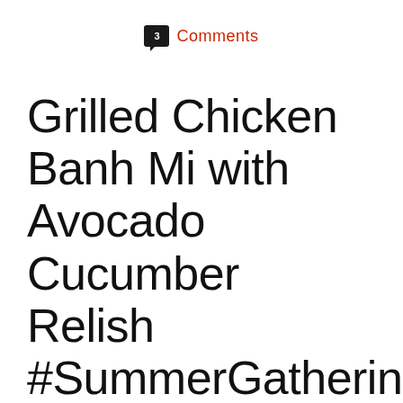3 Comments
Grilled Chicken Banh Mi with Avocado Cucumber Relish #SummerGathering
August 22,2014
[Figure (photo): Close-up photo of a Banh Mi sandwich with vegetables visible, warm tones, blurred background]